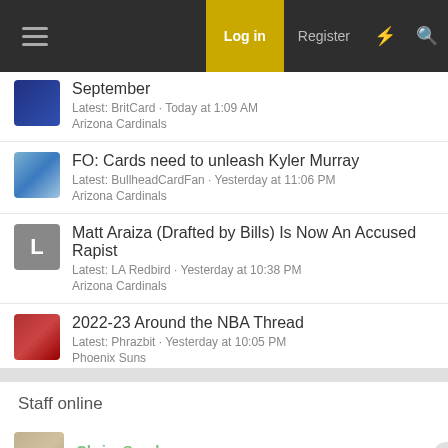Log in | Register
September · Latest: BritCard · Today at 1:09 AM · Arizona Cardinals
FO: Cards need to unleash Kyler Murray · Latest: BullheadCardFan · Yesterday at 11:06 PM · Arizona Cardinals
Matt Araiza (Drafted by Bills) Is Now An Accused Rapist · Latest: LA Redbird · Yesterday at 10:38 PM · Arizona Cardinals
2022-23 Around the NBA Thread · Latest: Phrazbit · Yesterday at 10:05 PM · Phoenix Suns
Staff online
Chris_Sanders · Super Moderator